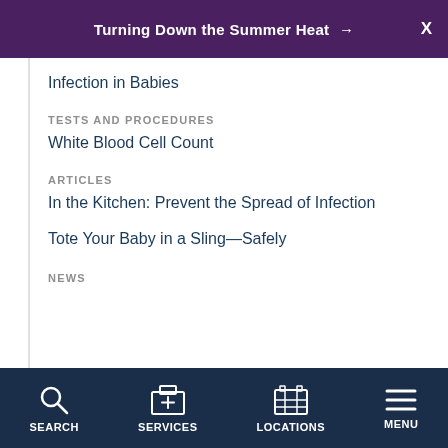Turning Down the Summer Heat →
Infection in Babies
TESTS AND PROCEDURES
White Blood Cell Count
ARTICLES
In the Kitchen: Prevent the Spread of Infection
Tote Your Baby in a Sling—Safely
NEWS
SEARCH   SERVICES   LOCATIONS   MENU